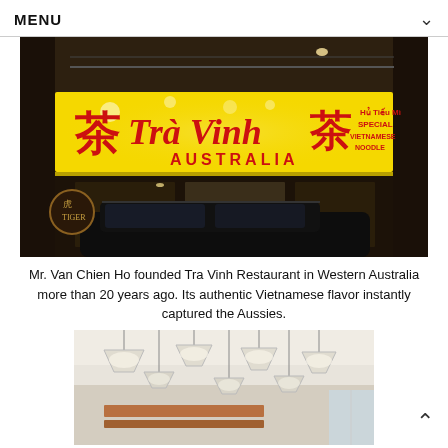MENU
[Figure (photo): Exterior night photo of Tra Vinh Australia restaurant with illuminated yellow sign showing Chinese characters and the name 'Tra Vinh AUSTRALIA' in red, along with text 'Hủ Tiếu Mì SPECIAL VIETNAMESE NOODLE'. A dark car is parked in front.]
Mr. Van Chien Ho founded Tra Vinh Restaurant in Western Australia more than 20 years ago. Its authentic Vietnamese flavor instantly captured the Aussies.
[Figure (photo): Interior photo of Tra Vinh restaurant showing modern pendant lights hanging from white ceiling over dining area.]